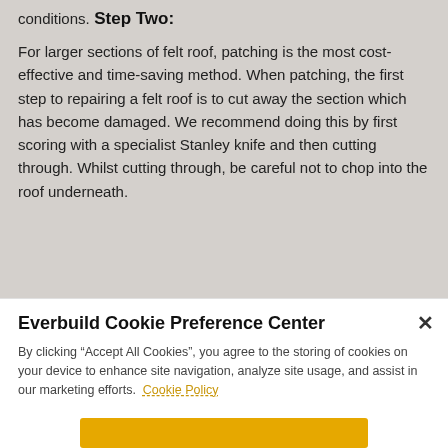conditions.
Step Two:
For larger sections of felt roof, patching is the most cost-effective and time-saving method. When patching, the first step to repairing a felt roof is to cut away the section which has become damaged. We recommend doing this by first scoring with a specialist Stanley knife and then cutting through. Whilst cutting through, be careful not to chop into the roof underneath.
Everbuild Cookie Preference Center
By clicking “Accept All Cookies”, you agree to the storing of cookies on your device to enhance site navigation, analyze site usage, and assist in our marketing efforts. Cookie Policy